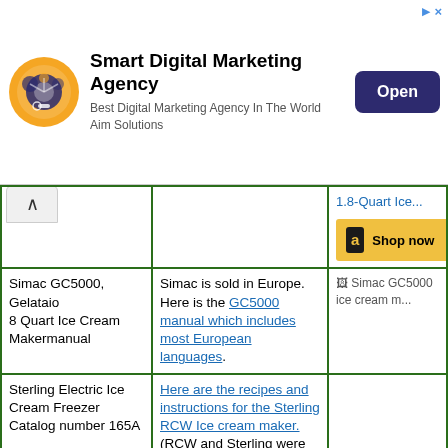[Figure (other): Advertisement banner for Smart Digital Marketing Agency. Shows a circular logo with gears/globe, heading 'Smart Digital Marketing Agency', subtext 'Best Digital Marketing Agency In The World / Aim Solutions', and a dark blue 'Open' button. Arrow and X icons in top right corner.]
|  |  | 1.8-Quart Ice...
[Amazon Shop now button] |
| Simac GC5000, Gelataio 8 Quart Ice Cream Makermanual | Simac is sold in Europe. Here is the GC5000 manual which includes most European languages. | [Simac GC5000 ice cream m... image] |
| Sterling Electric Ice Cream Freezer Catalog number 165A | Here are the recipes and instructions for the Sterling RCW Ice cream maker. (RCW and Sterling were the same company) |  |